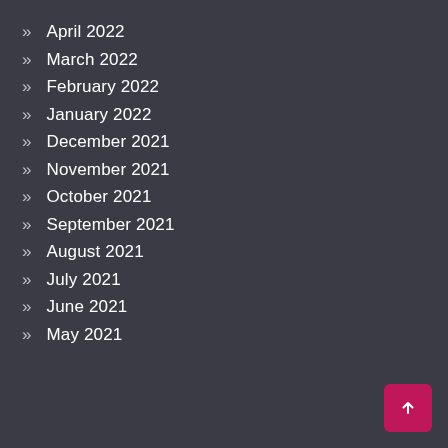April 2022
March 2022
February 2022
January 2022
December 2021
November 2021
October 2021
September 2021
August 2021
July 2021
June 2021
May 2021